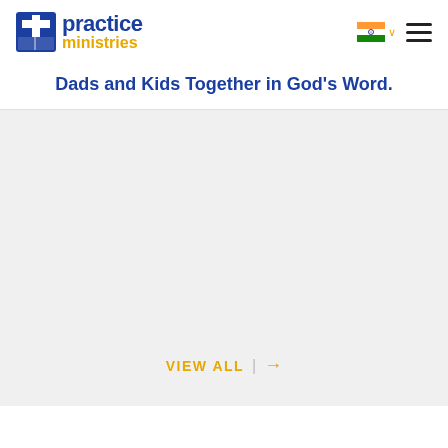[Figure (logo): Practice Ministries logo: blue cross/book icon on left, text 'practice' in bold blue and 'ministries' in gold/yellow below]
Dads and Kids Together in God's Word.
[Figure (other): Main content area with light gray background, mostly empty/placeholder content area]
VIEW ALL  |  →